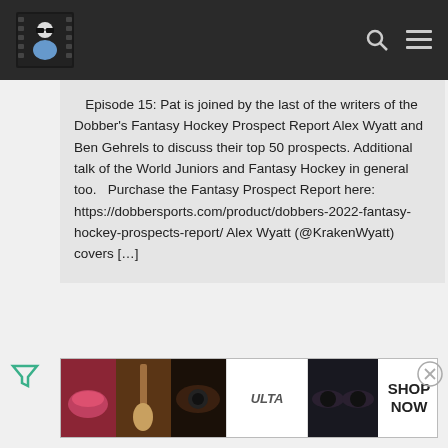Navigation bar with logo, search and menu icons
Episode 15: Pat is joined by the last of the writers of the Dobber’s Fantasy Hockey Prospect Report Alex Wyatt and Ben Gehrels to discuss their top 50 prospects. Additional talk of the World Juniors and Fantasy Hockey in general too.   Purchase the Fantasy Prospect Report here: https://dobbersports.com/product/dobbers-2022-fantasy-hockey-prospects-report/ Alex Wyatt (@KrakenWyatt) covers […]
[Figure (infographic): Ulta Beauty advertisement banner showing cosmetic product imagery (lips, brush, eyes), Ulta logo, and SHOP NOW call to action]